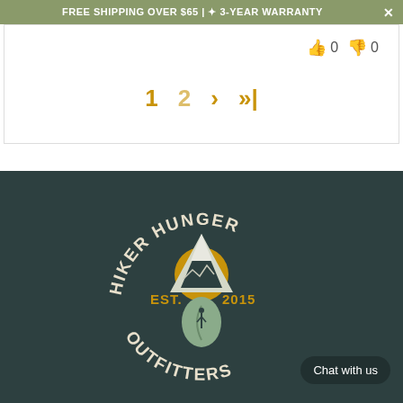FREE SHIPPING OVER $65 | ✦ 3-YEAR WARRANTY
👍 0  👎 0
1  2  ›  »
[Figure (logo): Hiker Hunger Outfitters circular logo with mountain, sun and EST. 2015 text on dark teal background]
Chat with us
MORE INFORMATION